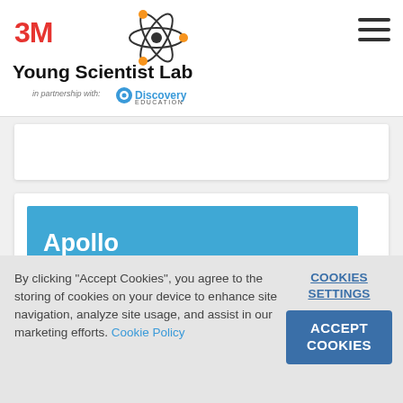[Figure (logo): 3M Young Scientist Lab logo with atom icon and Discovery Education partnership]
[Figure (screenshot): White card content area (partially visible)]
Apollo
By clicking "Accept Cookies", you agree to the storing of cookies on your device to enhance site navigation, analyze site usage, and assist in our marketing efforts. Cookie Policy
COOKIES SETTINGS
ACCEPT COOKIES